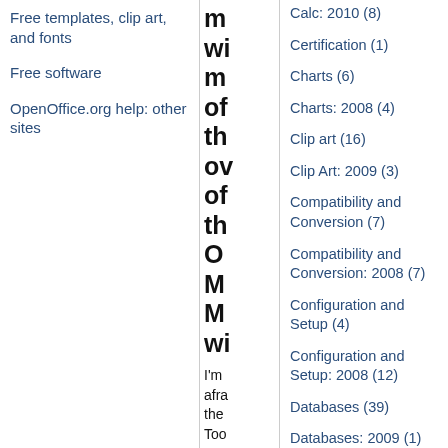Free templates, clip art, and fonts
Free software
OpenOffice.org help: other sites
m wi m of th ov of th O M M wi
I'm afra the Toc > Ma Me Wi has m
Calc: 2010 (8)
Certification (1)
Charts (6)
Charts: 2008 (4)
Clip art (16)
Clip Art: 2009 (3)
Compatibility and Conversion (7)
Compatibility and Conversion: 2008 (7)
Configuration and Setup (4)
Configuration and Setup: 2008 (12)
Databases (39)
Databases: 2009 (1)
Databases: 2010 (1)
Diagrams (12)